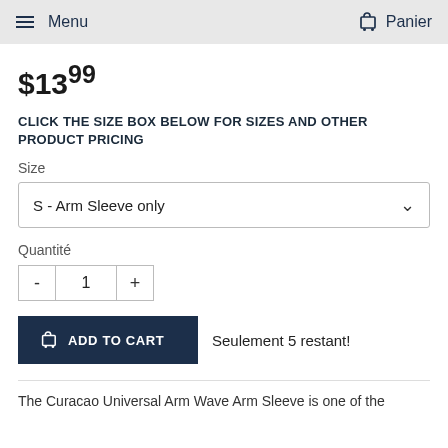Menu   Panier
$13.99
CLICK THE SIZE BOX BELOW FOR SIZES AND OTHER PRODUCT PRICING
Size
S - Arm Sleeve only
Quantité
1
ADD TO CART   Seulement 5 restant!
The Curacao Universal Arm Wave Arm Sleeve is one of the